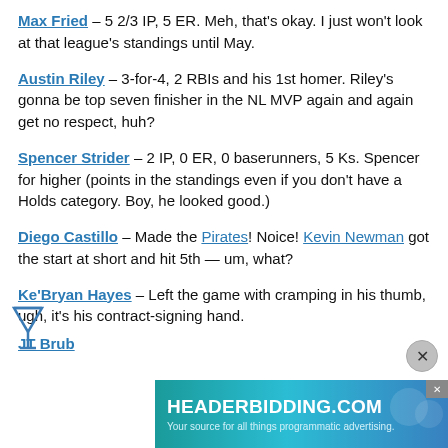Max Fried – 5 2/3 IP, 5 ER. Meh, that's okay. I just won't look at that league's standings until May.
Austin Riley – 3-for-4, 2 RBIs and his 1st homer. Riley's gonna be top seven finisher in the NL MVP again and again get no respect, huh?
Spencer Strider – 2 IP, 0 ER, 0 baserunners, 5 Ks. Spencer for higher (points in the standings even if you don't have a Holds category. Boy, he looked good.)
Diego Castillo – Made the Pirates! Noice! Kevin Newman got the start at short and hit 5th — um, what?
Ke'Bryan Hayes – Left the game with cramping in his thumb, ugh, it's his contract-signing hand.
JT Brub...
[Figure (other): Advertisement banner for HEADERBIDDING.COM – Your source for all things programmatic advertising. Teal/blue gradient background with white text.]